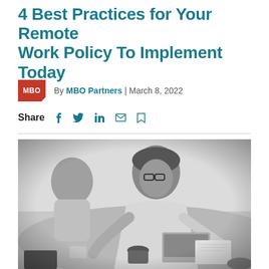4 Best Practices for Your Remote Work Policy To Implement Today
By MBO Partners | March 8, 2022
Share
[Figure (photo): Black and white photo of people working around a table with laptops and coffee cups, one man with glasses leaning over looking at documents]